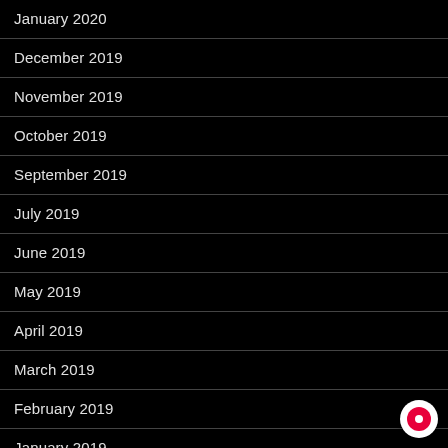January 2020
December 2019
November 2019
October 2019
September 2019
July 2019
June 2019
May 2019
April 2019
March 2019
February 2019
January 2019
December 2018